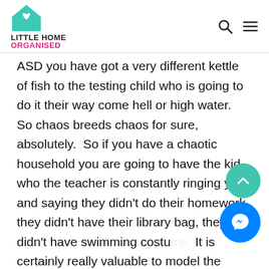LITTLE HOME ORGANISED
ASD you have got a very different kettle of fish to the testing child who is going to do it their way come hell or high water.  So chaos breeds chaos for sure, absolutely.  So if you have a chaotic household you are going to have the kid who the teacher is constantly ringing you and saying they didn't do their homework, they didn't have their library bag, they didn't have swimming costum... It is certainly really valuable to model the behaviour that you want to see for you... child and the schools do a great job of helping kids get organised apart from their